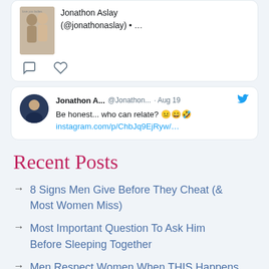[Figure (screenshot): Top portion of a tweet card showing an image of two elderly people kissing with text 'love you ladies.' and author 'Jonathon Aslay (@jonathonaslay) • ...']
[Figure (screenshot): Tweet by Jonathon A... @Jonathon... · Aug 19 with Twitter bird icon. Text: 'Be honest... who can relate? 😐😄🤣 instagram.com/p/ChbJq9EjRyw/...']
Recent Posts
8 Signs Men Give Before They Cheat (& Most Women Miss)
Most Important Question To Ask Him Before Sleeping Together
Men Respect Women When THIS Happens...